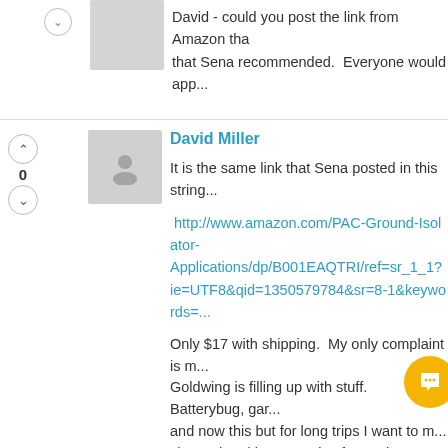David - could you post the link from Amazon that Sena recommended.  Everyone would app...
David Miller
It is the same link that Sena posted in this string...
http://www.amazon.com/PAC-Ground-Isolator-Applications/dp/B001EAQTRI/ref=sr_1_1?ie=UTF8&qid=1350579784&sr=8-1&keywords=...
Only $17 with shipping.  My only complaint is m... Goldwing is filling up with stuff.  Batterybug, gar... and now this but for long trips I want to m... charged and have a noise free enjoyment of the... prompts.